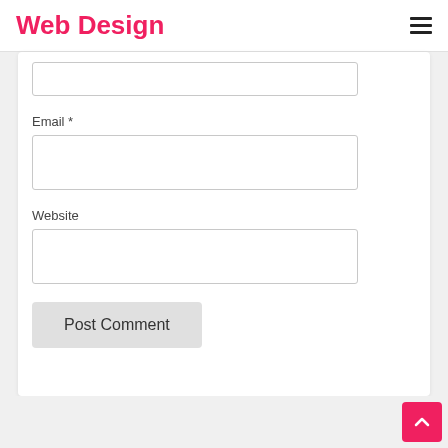Web Design
Email *
Website
Post Comment